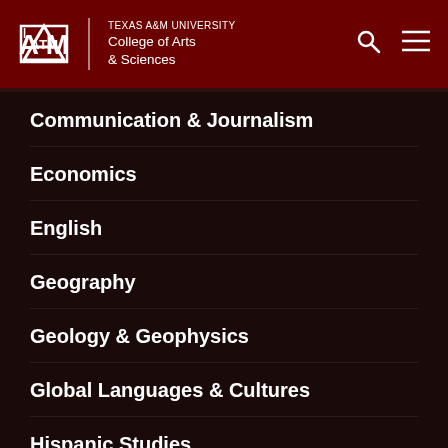TEXAS A&M UNIVERSITY College of Arts & Sciences
Communication & Journalism
Economics
English
Geography
Geology & Geophysics
Global Languages & Cultures
Hispanic Studies
History
Mathematics